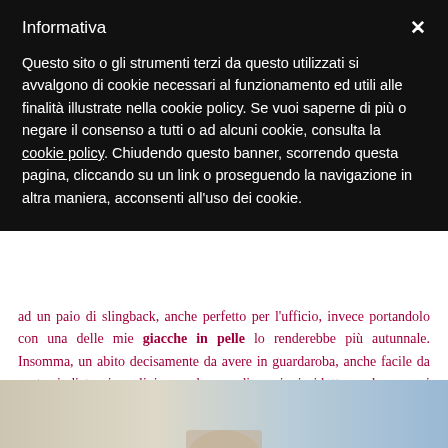Informativa
Questo sito o gli strumenti terzi da questo utilizzati si avvalgono di cookie necessari al funzionamento ed utili alle finalità illustrate nella cookie policy. Se vuoi saperne di più o negare il consenso a tutti o ad alcuni cookie, consulta la cookie policy. Chiudendo questo banner, scorrendo questa pagina, cliccando su un link o proseguendo la navigazione in altra maniera, acconsenti all'uso dei cookie.
ad un paio di slingback, anche perfetto per l'ufficio, invece portandolo con una delle mie giacche in pelle lo renderebbe più autunnale. Insomma, un abito decisamente da avere in guardaroba, anche facile da portarsi dietro in valigia per le sue dimensioni ridotte e che non si stropiccia nemmeno, un altro plus per una fashion blogger che odia stirare come me !.
[Figure (photo): Partial view of a person/fashion photo, bottom portion visible with beige and blue tones]